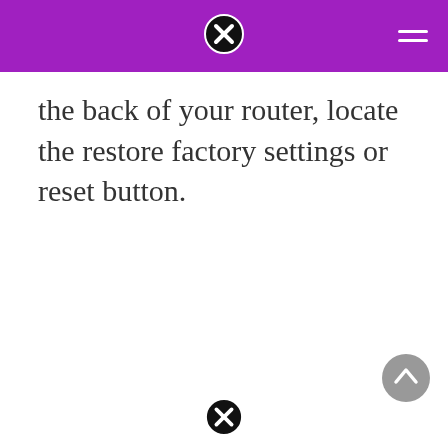the back of your router, locate the restore factory settings or reset button.